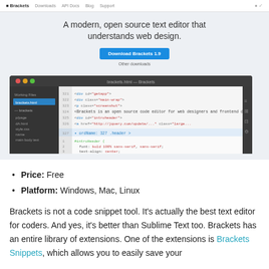Brackets  Downloads  API Docs  Blog  Support
[Figure (screenshot): Brackets website screenshot showing hero section with headline 'A modern, open source text editor that understands web design.' with Download Brackets 1.9 button and a code editor screenshot below]
Price: Free
Platform: Windows, Mac, Linux
Brackets is not a code snippet tool. It's actually the best text editor for coders. And yes, it's better than Sublime Text too. Brackets has an entire library of extensions. One of the extensions is Brackets Snippets, which allows you to easily save your